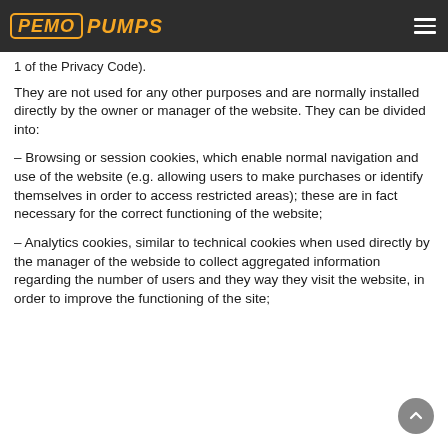PEMO PUMPS
1 of the Privacy Code).
They are not used for any other purposes and are normally installed directly by the owner or manager of the website. They can be divided into:
– Browsing or session cookies, which enable normal navigation and use of the website (e.g. allowing users to make purchases or identify themselves in order to access restricted areas); these are in fact necessary for the correct functioning of the website;
– Analytics cookies, similar to technical cookies when used directly by the manager of the webside to collect aggregated information regarding the number of users and they way they visit the website, in order to improve the functioning of the site;